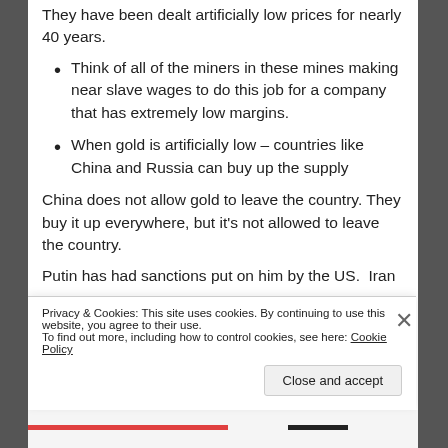They have been dealt artificially low prices for nearly 40 years.
Think of all of the miners in these mines making near slave wages to do this job for a company that has extremely low margins.
When gold is artificially low – countries like China and Russia can buy up the supply
China does not allow gold to leave the country. They buy it up everywhere, but it's not allowed to leave the country.
Putin has had sanctions put on him by the US. Iran
Privacy & Cookies: This site uses cookies. By continuing to use this website, you agree to their use.
To find out more, including how to control cookies, see here: Cookie Policy